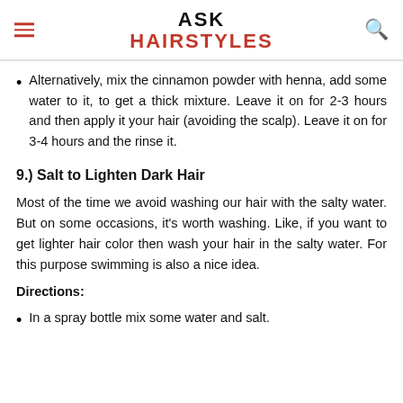ASK HAIRSTYLES
Alternatively, mix the cinnamon powder with henna, add some water to it, to get a thick mixture. Leave it on for 2-3 hours and then apply it your hair (avoiding the scalp). Leave it on for 3-4 hours and the rinse it.
9.) Salt to Lighten Dark Hair
Most of the time we avoid washing our hair with the salty water. But on some occasions, it's worth washing. Like, if you want to get lighter hair color then wash your hair in the salty water. For this purpose swimming is also a nice idea.
Directions:
In a spray bottle mix some water and salt.